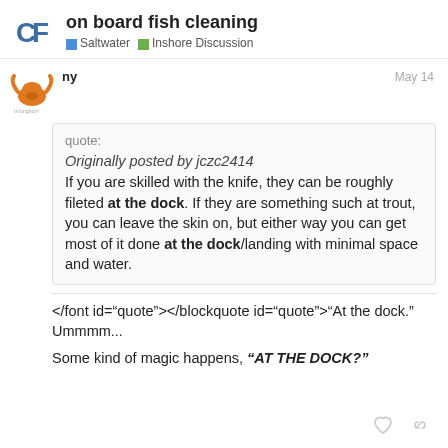on board fish cleaning | Saltwater | Inshore Discussion
[Figure (logo): CF logo and longhorn avatar]
May 14
quote:

Originally posted by jczc2414
If you are skilled with the knife, they can be roughly fileted at the dock. If they are something such at trout, you can leave the skin on, but either way you can get most of it done at the dock/landing with minimal space and water.
</font id="quote"></blockquote id="quote">"At the dock." Ummmm...
Some kind of magic happens, "AT THE DOCK?"